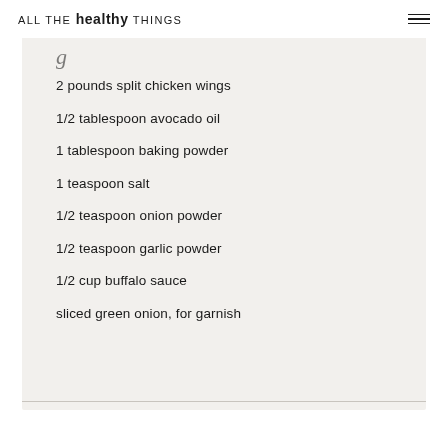ALL THE healthy THINGS
2 pounds split chicken wings
1/2 tablespoon avocado oil
1 tablespoon baking powder
1 teaspoon salt
1/2 teaspoon onion powder
1/2 teaspoon garlic powder
1/2 cup buffalo sauce
sliced green onion, for garnish